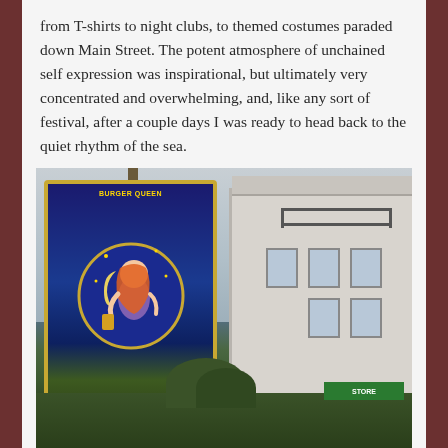from T-shirts to night clubs, to themed costumes paraded down Main Street. The potent atmosphere of unchained self expression was inspirational, but ultimately very concentrated and overwhelming, and, like any sort of festival, after a couple days I was ready to head back to the quiet rhythm of the sea.
[Figure (photo): Photo of a Provincetown town sign featuring an illustrated mermaid/feminine figure in purple against a blue celestial background, with 'PROVINCETOWN' text at the bottom. Behind the sign is a white multi-story building and overcast sky.]
We did some last minute food shopping at the Stop & Shop up